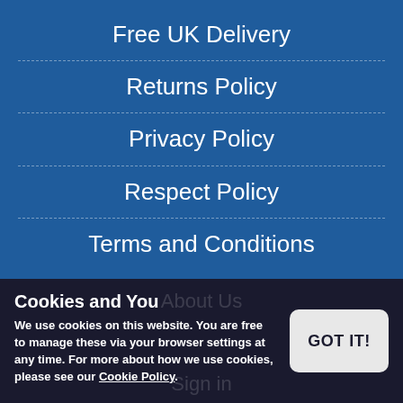Free UK Delivery
Returns Policy
Privacy Policy
Respect Policy
Terms and Conditions
Cookies and You
We use cookies on this website. You are free to manage these via your browser settings at any time. For more about how we use cookies, please see our Cookie Policy.